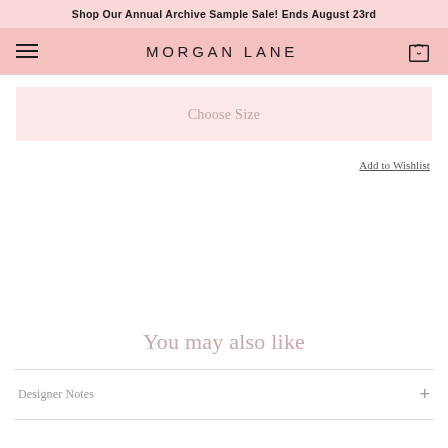Shop Our Annual Archive Sample Sale! Ends August 23rd
[Figure (screenshot): Morgan Lane navigation bar with hamburger menu icon on left, 'MORGAN LANE' logo in center, and shopping bag icon on right, on pink background]
Choose Size
Add to Wishlist
You may also like
Designer Notes
+